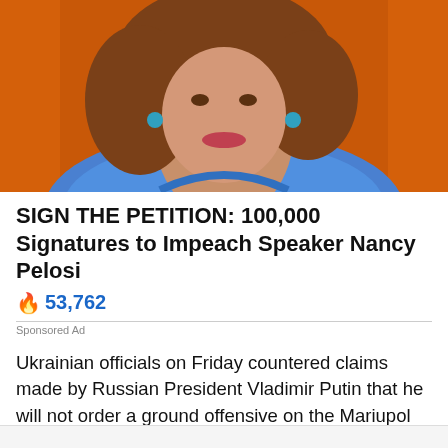[Figure (photo): Photo of a woman (Nancy Pelosi) with brown hair against an orange background, wearing a blue jacket]
SIGN THE PETITION: 100,000 Signatures to Impeach Speaker Nancy Pelosi
🔥 53,762
Sponsored Ad
Ukrainian officials on Friday countered claims made by Russian President Vladimir Putin that he will not order a ground offensive on the Mariupol steel plant where thousands of Ukrainian civilians and soldiers remain holed up.